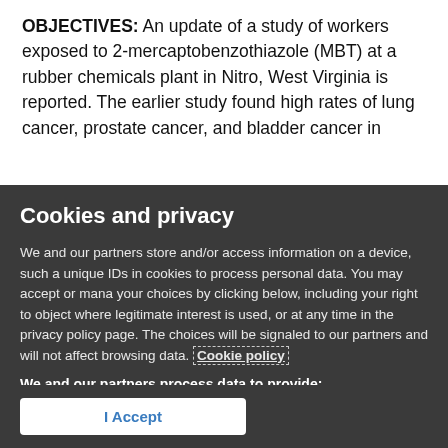OBJECTIVES: An update of a study of workers exposed to 2-mercaptobenzothiazole (MBT) at a rubber chemicals plant in Nitro, West Virginia is reported. The earlier study found high rates of lung cancer, prostate cancer, and bladder cancer in
Cookies and privacy
We and our partners store and/or access information on a device, such a unique IDs in cookies to process personal data. You may accept or mana your choices by clicking below, including your right to object where legitimate interest is used, or at any time in the privacy policy page. The choices will be signaled to our partners and will not affect browsing data. Cookie policy
We and our partners process data to provide:
Store and/or access information on a device, Personalised ads and content, ad and content measurement, audience insights and product development, Use precise geolocation data, Actively scan device characteristics for identification
List of Partners (vendors)
I Accept